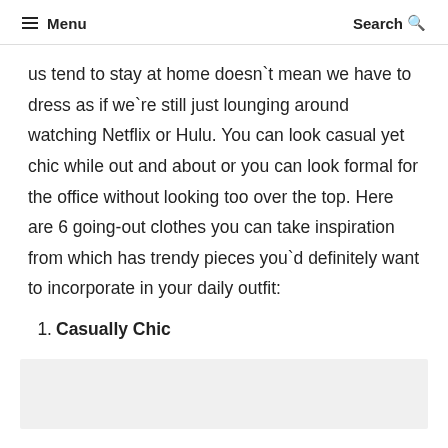≡ Menu   Search 🔍
us tend to stay at home doesn't mean we have to dress as if we're still just lounging around watching Netflix or Hulu. You can look casual yet chic while out and about or you can look formal for the office without looking too over the top. Here are 6 going-out clothes you can take inspiration from which has trendy pieces you'd definitely want to incorporate in your daily outfit:
1. Casually Chic
[Figure (photo): Light gray placeholder image area at the bottom of the page]